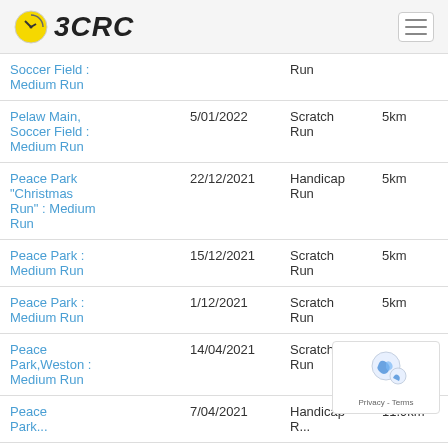3CRC
| Event | Date | Type | Dist | Time | Pace |
| --- | --- | --- | --- | --- | --- |
| Soccer Field : Medium Run |  | Run |  |  |  |
| Pelaw Main, Soccer Field : Medium Run | 5/01/2022 | Scratch Run | 5km | 35:11 | 7:02 |
| Peace Park "Christmas Run" : Medium Run | 22/12/2021 | Handicap Run | 5km | 33:31 | 6:42 |
| Peace Park : Medium Run | 15/12/2021 | Scratch Run | 5km | 37:55 | 7:35 |
| Peace Park : Medium Run | 1/12/2021 | Scratch Run | 5km | 33:49 | 6:46 |
| Peace Park,Weston : Medium Run | 14/04/2021 | Scratch Run | 5km | 29:43 | 5:57 |
| Peace Park... | 7/04/2021 | Handicap... | 11.9km | 1:24:09 | 7:04 |